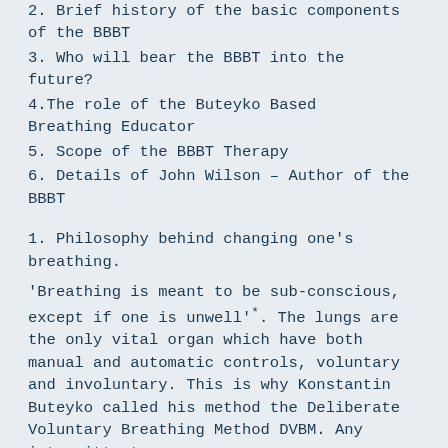2. Brief history of the basic components of the BBBT
3. Who will bear the BBBT into the future?
4.The role of the Buteyko Based Breathing Educator
5. Scope of the BBBT Therapy
6. Details of John Wilson - Author of the BBBT
1. Philosophy behind changing one's breathing.
'Breathing is meant to be sub-conscious, except if one is unwell'*. The lungs are the only vital organ which have both manual and automatic controls, voluntary and involuntary. This is why Konstantin Buteyko called his method the Deliberate Voluntary Breathing Method DVBM. Any intermittent